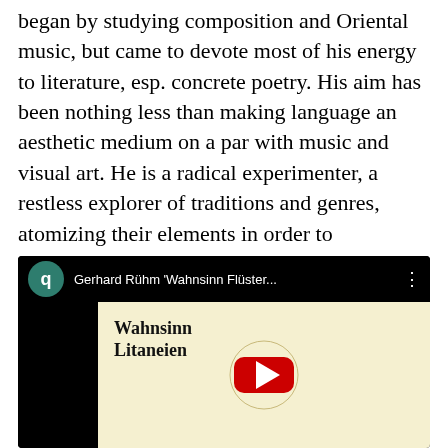began by studying composition and Oriental music, but came to devote most of his energy to literature, esp. concrete poetry. His aim has been nothing less than making language an aesthetic medium on a par with music and visual art. He is a radical experimenter, a restless explorer of traditions and genres, atomizing their elements in order to recompose them with conceptual precision and a multiplicity of compositional techniques. All becoming a very disciplined practice of limitation and constraint.
[Figure (screenshot): YouTube video embed showing 'Gerhard Rühm Wahnsinn Flüster...' with a thumbnail displaying bold serif text 'Wahnsinn Litaneien' on a light yellow background with a YouTube play button overlay. The video frame has a black letterbox on the left and a dark top bar with a teal channel icon, video title, and options dots.]